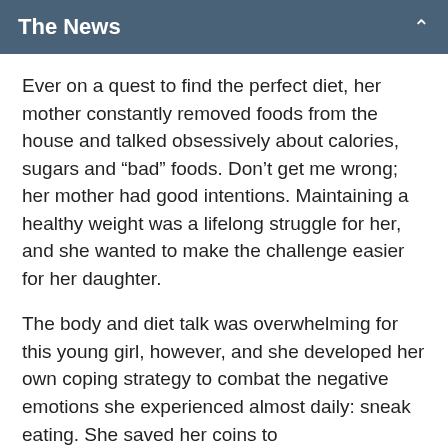The News
Ever on a quest to find the perfect diet, her mother constantly removed foods from the house and talked obsessively about calories, sugars and “bad” foods. Don’t get me wrong; her mother had good intentions. Maintaining a healthy weight was a lifelong struggle for her, and she wanted to make the challenge easier for her daughter.
The body and diet talk was overwhelming for this young girl, however, and she developed her own coping strategy to combat the negative emotions she experienced almost daily: sneak eating. She saved her coins to